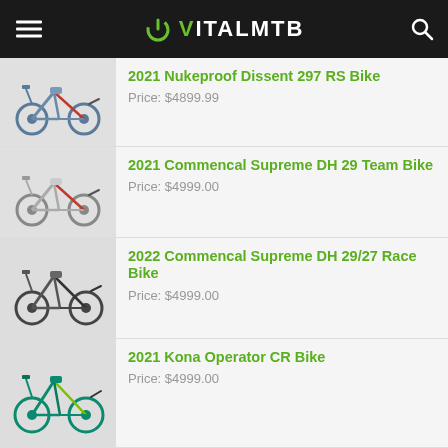VITALMTB
2021 Nukeproof Dissent 297 RS Bike — Price: $4899.99
2021 Commencal Supreme DH 29 Team Bike — Price: $4999.00
2022 Commencal Supreme DH 29/27 Race Bike — Price: $4999.00
2021 Kona Operator CR Bike — Price: $4999.00
2021 Chromag Doctahawk G2 Better Bike — Price: $4650.00